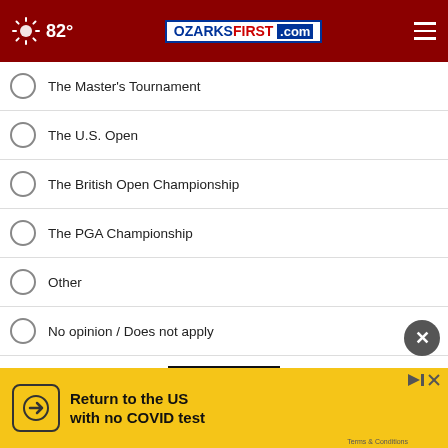82° | OZARKSFIRST.com
The Master's Tournament
The U.S. Open
The British Open Championship
The PGA Championship
Other
No opinion / Does not apply
NEXT *
* By clicking "NEXT" you agree to the following: We use cookies to track your survey answers. If you would like to continue with this survey, please read and agree to the CivicScience Privacy Policy and Terms of Service
[Figure (infographic): Advertisement banner: Return to the US with no COVID test, with arrow icon and yellow background]